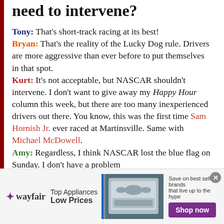need to intervene?
Tony: That's short-track racing at its best! Bryan: That's the reality of the Lucky Dog rule. Drivers are more aggressive than ever before to put themselves in that spot. Kurt: It's not acceptable, but NASCAR shouldn't intervene. I don't want to give away my Happy Hour column this week, but there are too many inexperienced drivers out there. You know, this was the first time Sam Hornish Jr. ever raced at Martinsville. Same with Michael McDowell. Amy: Regardless, I think NASCAR lost the blue flag on Sunday. I don't have a problem
[Figure (infographic): Wayfair advertisement banner: Top Appliances Low Prices, with appliance image, Save on best selling brands that live up to the hype, Shop now button]